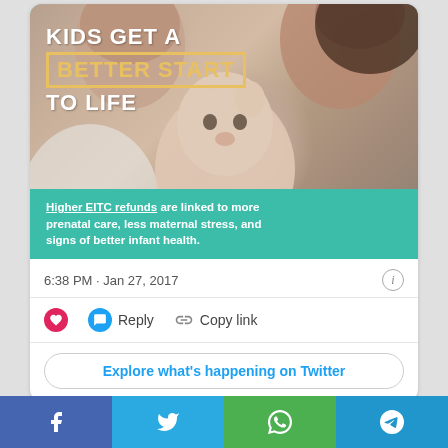[Figure (photo): Twitter card screenshot showing a photo of parents with a baby. Text overlays read 'KIDS GET A BETTER START TO LIFE' and a teal banner reads 'Higher EITC refunds are linked to more prenatal care, less maternal stress, and signs of better infant health.' Below the image is a timestamp '6:38 PM · Jan 27, 2017', action buttons (heart, Reply, Copy link), and an 'Explore what's happening on Twitter' button.]
6:38 PM · Jan 27, 2017
Reply
Copy link
Explore what's happening on Twitter